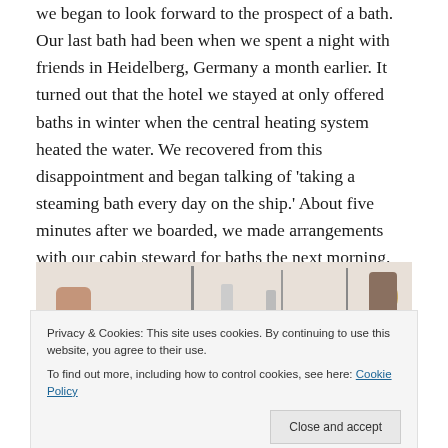we began to look forward to the prospect of a bath. Our last bath had been when we spent a night with friends in Heidelberg, Germany a month earlier. It turned out that the hotel we stayed at only offered baths in winter when the central heating system heated the water. We recovered from this disappointment and began talking of 'taking a steaming bath every day on the ship.' About five minutes after we boarded, we made arrangements with our cabin steward for baths the next morning.
[Figure (photo): Partial photograph of a ship deck scene showing faucets, masts, a lamp, and a person, partially obscured by a cookie consent banner.]
Privacy & Cookies: This site uses cookies. By continuing to use this website, you agree to their use.
To find out more, including how to control cookies, see here: Cookie Policy

Close and accept